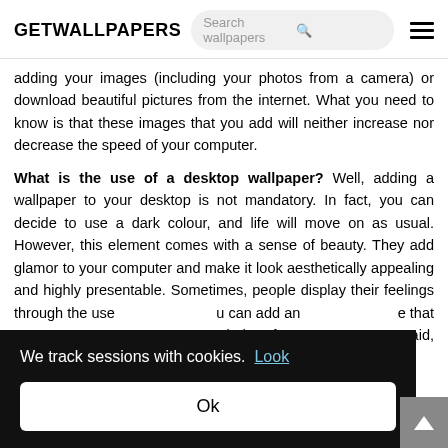GETWALLPAPERS | Search wallpapers
adding your images (including your photos from a camera) or download beautiful pictures from the internet. What you need to know is that these images that you add will neither increase nor decrease the speed of your computer.
What is the use of a desktop wallpaper? Well, adding a wallpaper to your desktop is not mandatory. In fact, you can decide to use a dark colour, and life will move on as usual. However, this element comes with a sense of beauty. They add glamor to your computer and make it look aesthetically appealing and highly presentable. Sometimes, people display their feelings through the use [of wallpapers]. You can add an [image] that means [something, like] a reminder of [something]. That said, des[ktop wallpapers represent] different thi[ngs]
We track sessions with cookies. Look
Ok